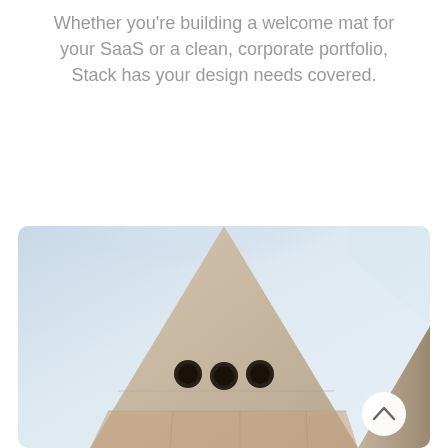Whether you're building a welcome mat for your SaaS or a clean, corporate portfolio, Stack has your design needs covered.
[Figure (photo): Architectural photo of a modern stone/concrete pyramidal tower structure shot from below against a pale blue sky. The facade is beige/tan with three circular holes and horizontal panel joints. A white circular scroll-up button appears in the lower right corner of the image.]